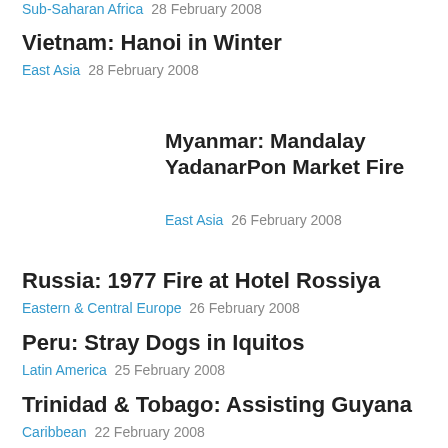Sub-Saharan Africa  28 February 2008
Vietnam: Hanoi in Winter
East Asia  28 February 2008
Myanmar: Mandalay YadanarPon Market Fire
East Asia  26 February 2008
Russia: 1977 Fire at Hotel Rossiya
Eastern & Central Europe  26 February 2008
Peru: Stray Dogs in Iquitos
Latin America  25 February 2008
Trinidad & Tobago: Assisting Guyana
Caribbean  22 February 2008